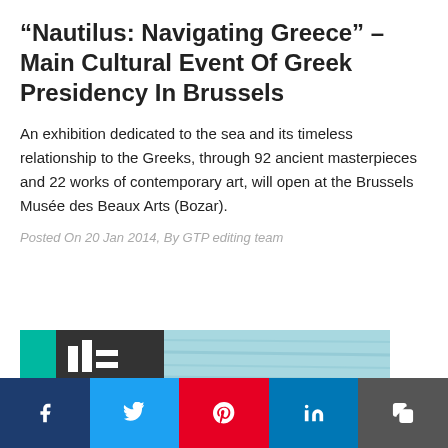“Nautilus: Navigating Greece” – Main Cultural Event Of Greek Presidency In Brussels
An exhibition dedicated to the sea and its timeless relationship to the Greeks, through 92 ancient masterpieces and 22 works of contemporary art, will open at the Brussels Musée des Beaux Arts (Bozar).
Posted On 20 Jan 2014, By GTP editing team
[Figure (other): Banner image showing a teal/dark graphic on the left and a blurred blue-green water texture on the right, likely a promotional banner for the Nautilus exhibition.]